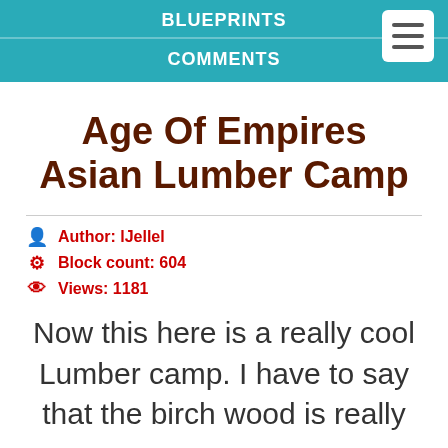BLUEPRINTS
COMMENTS
Age Of Empires Asian Lumber Camp
Author: lJellel
Block count: 604
Views: 1181
Now this here is a really cool Lumber camp. I have to say that the birch wood is really eye catching and it just looks